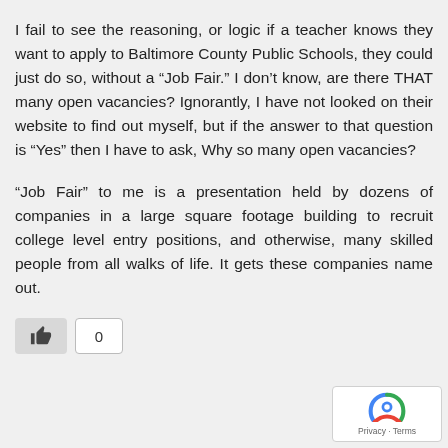I fail to see the reasoning, or logic if a teacher knows they want to apply to Baltimore County Public Schools, they could just do so, without a “Job Fair.” I don’t know, are there THAT many open vacancies? Ignorantly, I have not looked on their website to find out myself, but if the answer to that question is “Yes” then I have to ask, Why so many open vacancies?
“Job Fair” to me is a presentation held by dozens of companies in a large square footage building to recruit college level entry positions, and otherwise, many skilled people from all walks of life. It gets these companies name out.
[Figure (other): A thumbs-up like button (dark gray background) next to a count box showing 0]